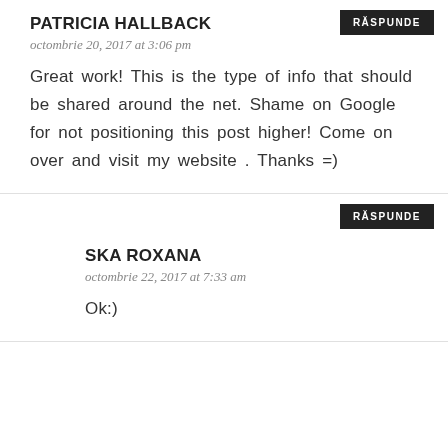PATRICIA HALLBACK
octombrie 20, 2017 at 3:06 pm
Great work! This is the type of info that should be shared around the net. Shame on Google for not positioning this post higher! Come on over and visit my website . Thanks =)
SKA ROXANA
octombrie 22, 2017 at 7:33 am
Ok:)